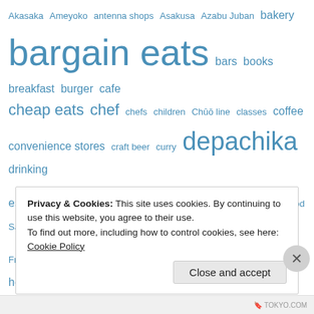[Figure (infographic): Tag cloud with blue hyperlinks of varying font sizes representing topics related to Tokyo food and travel: Akasaka, Ameyoko, antenna shops, Asakusa, Azabu Juban, bakery, bargain eats (largest), bars, books, breakfast, burger, cafe, cheap eats, chef, chefs, children, Chūō line, classes, coffee, convenience stores, craft beer, curry, depachika, drinking establishments, Ebisu, ethnic, event, food, Food Sake Tokyo, French, Ginza (large), gotta get, gotta go, Harajuku, hotel, Ikebukuro, Italian, izakaya, Kagurazaka, kaiseki, Kanda, Kappabashi, Kichijoji, kids, kitchenware, Kokubunji, Kyoto, Marunouchi, media (large), Meguro-ku, Michelin, monjayaki, Nagano]
Privacy & Cookies: This site uses cookies. By continuing to use this website, you agree to their use.
To find out more, including how to control cookies, see here: Cookie Policy
Close and accept